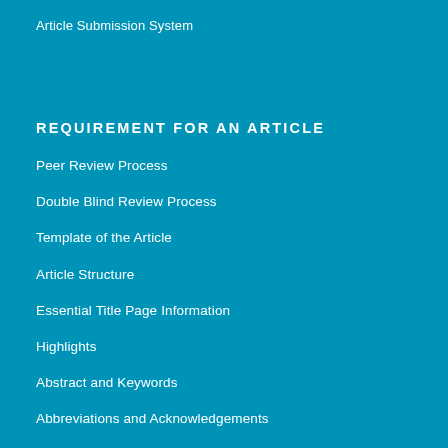Article Submission System
REQUIREMENT FOR AN ARTICLE
Peer Review Process
Double Blind Review Process
Template of the Article
Article Structure
Essential Title Page Information
Highlights
Abstract and Keywords
Abbreviations and Acknowledgements
Formatting of Grants and Funding Sources